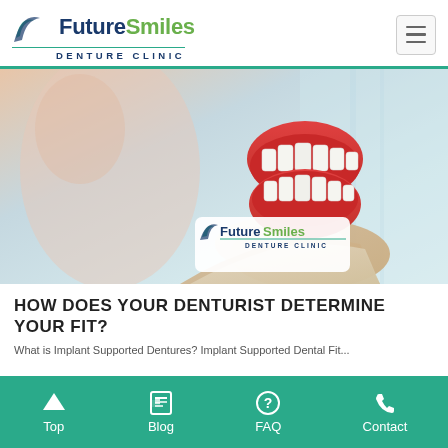[Figure (logo): FutureSmiles Denture Clinic logo with swoosh graphic, teal underline, and hamburger menu button]
[Figure (photo): A gloved hand holding a set of dentures up against a blurred clinical background. FutureSmiles Denture Clinic watermark logo in bottom right.]
HOW DOES YOUR DENTURIST DETERMINE YOUR FIT?
What is Implant Supported Dentures? Implant Supported Dental Fit...
Top | Blog | FAQ | Contact